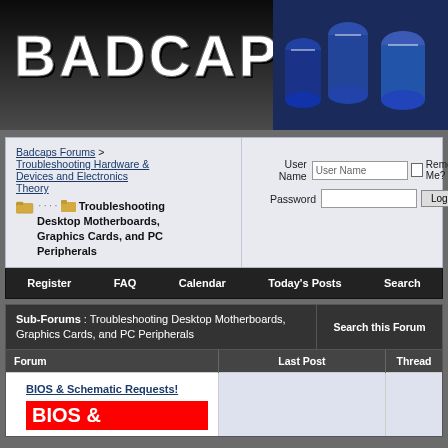[Figure (screenshot): Badcaps.net website header banner with distressed white text logo on dark background and blue capacitors image on right]
Badcaps Forums > Troubleshooting Hardware & Devices and Electronics Theory
Troubleshooting Desktop Motherboards, Graphics Cards, and PC Peripherals
User Name | Password | Remember Me? | Log in
Register  FAQ  Calendar  Today's Posts  Search
Sub-Forums : Troubleshooting Desktop Motherboards, Graphics Cards, and PC Peripherals
Search this Forum
| Forum | Last Post | Threads |
| --- | --- | --- |
| BIOS & Schematic Requests! BIOS & |  |  |
BIOS & Schematic Requests!